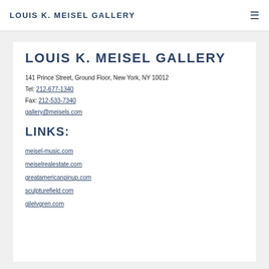LOUIS K. MEISEL GALLERY
LOUIS K. MEISEL GALLERY
141 Prince Street, Ground Floor, New York, NY 10012
Tel: 212-677-1340
Fax: 212-533-7340
gallery@meisels.com
LINKS:
meisel-music.com
meiselrealestate.com
greatamericanpinup.com
sculpturefield.com
gilelvgren.com